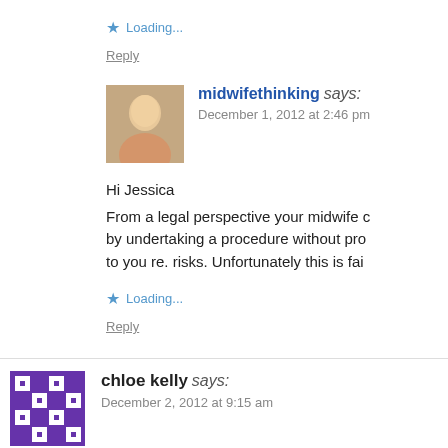★ Loading...
Reply
midwifethinking says:
December 1, 2012 at 2:46 pm
Hi Jessica
From a legal perspective your midwife c by undertaking a procedure without pro to you re. risks. Unfortunately this is fai
★ Loading...
Reply
chloe kelly says:
December 2, 2012 at 9:15 am